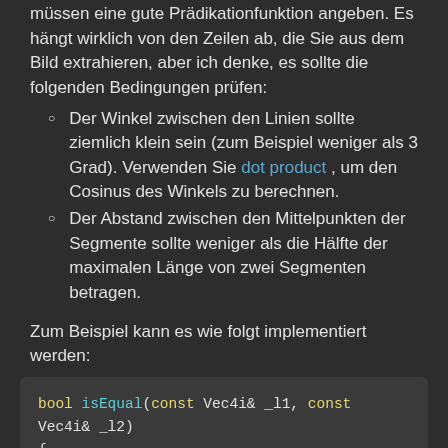müssen eine gute Prädikationfunktion angeben. Es hängt wirklich von den Zeilen ab, die Sie aus dem Bild extrahieren, aber ich denke, es sollte die folgenden Bedingungen prüfen:
Der Winkel zwischen den Linien sollte ziemlich klein sein (zum Beispiel weniger als 3 Grad). Verwenden Sie dot product , um den Cosinus des Winkels zu berechnen.
Der Abstand zwischen den Mittelpunkten der Segmente sollte weniger als die Hälfte der maximalen Länge von zwei Segmenten betragen.
Zum Beispiel kann es wie folgt implementiert werden:
[Figure (screenshot): Code block showing C++ function: bool isEqual(const Vec4i& _l1, const Vec4i& _l2) { Vec4i l1(_l1), l2(_l2); }]